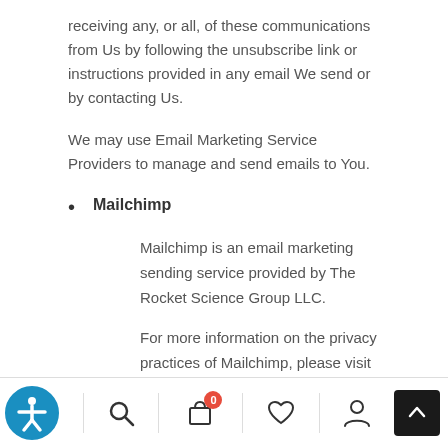receiving any, or all, of these communications from Us by following the unsubscribe link or instructions provided in any email We send or by contacting Us.
We may use Email Marketing Service Providers to manage and send emails to You.
Mailchimp
Mailchimp is an email marketing sending service provided by The Rocket Science Group LLC.
For more information on the privacy practices of Mailchimp, please visit their Privacy policy: https://mailchimp.com/legal/privacy/
Accessibility | Search | Cart (0) | Wishlist | Account | Back to top